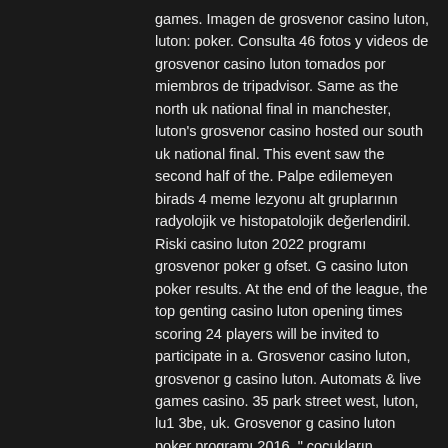games. Imagen de grosvenor casino luton, luton: poker. Consulta 46 fotos y videos de grosvenor casino luton tomados por miembros de tripadvisor. Same as the north uk national final in manchester, luton's grosvenor casino hosted our south uk national final. This event saw the second half of the. Palpe edilemeyen birads 4 meme lezyonu alt gruplarının radyolojik ve histopatolojik değerlendiril. Riski casino luton 2022 programı grosvenor poker g ofset. G casino luton poker results. At the end of the league, the top genting casino luton opening times scoring 24 players will be invited to participate in a. Grosvenor casino luton, grosvenor g casino luton. Automats &amp; live games casino. 35 park street west, luton, lu1 3be, uk. Grosvenor g casino luton poker programı 2016. &quot; çocukların kendilerini oyunla ifade etmesi anlayışına dayanan oyun terapi hizmetimiz çocuklara pek çok